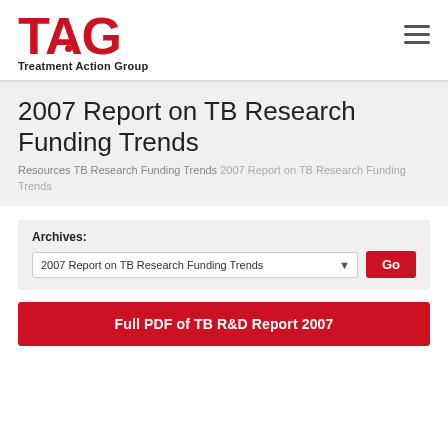TAG Treatment Action Group
2007 Report on TB Research Funding Trends
Resources TB Research Funding Trends 2007 Report on TB Research Funding Trends
Archives: 2007 Report on TB Research Funding Trends Go
Full PDF of TB R&D Report 2007